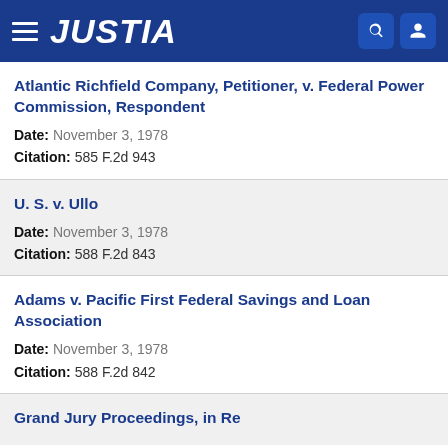JUSTIA
Atlantic Richfield Company, Petitioner, v. Federal Power Commission, Respondent
Date: November 3, 1978
Citation: 585 F.2d 943
U. S. v. Ullo
Date: November 3, 1978
Citation: 588 F.2d 843
Adams v. Pacific First Federal Savings and Loan Association
Date: November 3, 1978
Citation: 588 F.2d 842
Grand Jury Proceedings, in Re